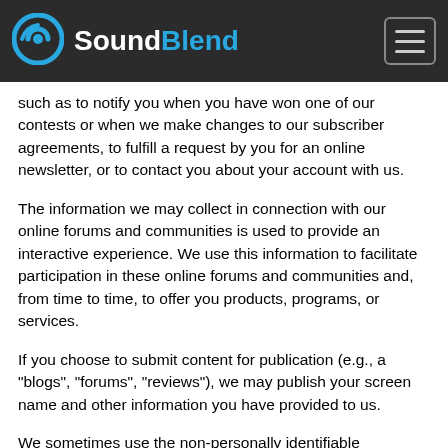SoundBlend
such as to notify you when you have won one of our contests or when we make changes to our subscriber agreements, to fulfill a request by you for an online newsletter, or to contact you about your account with us.
The information we may collect in connection with our online forums and communities is used to provide an interactive experience. We use this information to facilitate participation in these online forums and communities and, from time to time, to offer you products, programs, or services.
If you choose to submit content for publication (e.g., a "blogs", "forums", "reviews"), we may publish your screen name and other information you have provided to us.
We sometimes use the non-personally identifiable information that we collect to improve the design and content of our site and to enable us to personalize your Internet experience. We also may use this information in the aggregate to analyze site usage, as well as to offer you products, programs, or services.
We may disclose personally identifiable information in response to legal process, for example, in response to a court